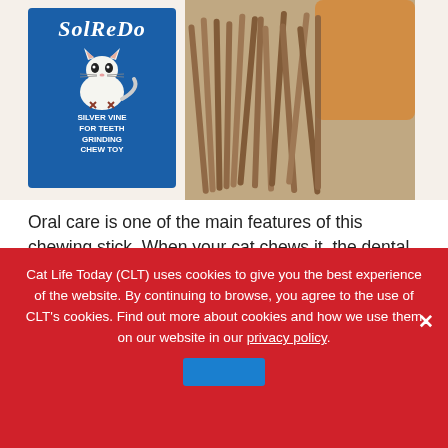[Figure (photo): Product image showing Solredo silver vine cat chewing sticks package (blue box with cat illustration and text 'Silver Vine For Teeth Grinding Chew Toy') alongside a pile of natural wooden sticks with an orange cat in the background]
Oral care is one of the main features of this chewing stick. When your cat chews it, the dental stick helps to clean her teeth of tartar and plaque through exfoliation. You cat will love chewing on this stick.
Key Features:
Cat Life Today (CLT) uses cookies to give you the best experience of the website. By continuing to browse, you agree to the use of CLT's cookies. Find out more about cookies and how we use them on our website in our privacy policy.